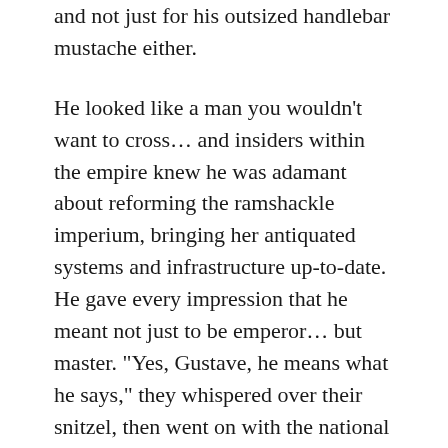and not just for his outsized handlebar mustache either.
He looked like a man you wouldn't want to cross… and insiders within the empire knew he was adamant about reforming the ramshackle imperium, bringing her antiquated systems and infrastructure up-to-date. He gave every impression that he meant not just to be emperor… but master. “Yes, Gustave, he means what he says,” they whispered over their snitzel, then went on with the national obsession, living well. This was Austria in 1914… where things were significant, but not important.
Franz Ferdinand was a man who got his...